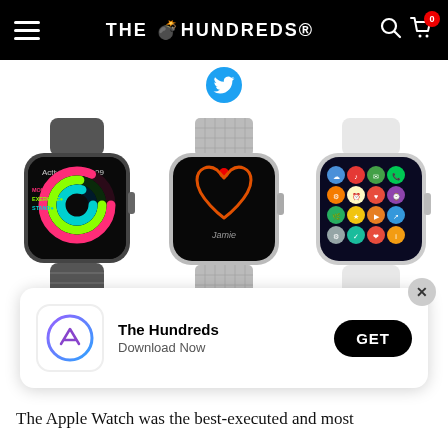THE HUNDREDS
[Figure (screenshot): Three Apple Watches displayed side by side: left watch shows Activity app with colorful rings, center watch shows a heart illustration with name 'Jamie', right watch shows app grid home screen.]
[Figure (infographic): App download banner showing The Hundreds app icon, name 'The Hundreds', subtitle 'Download Now', and a GET button.]
The Apple Watch was the best-executed and most